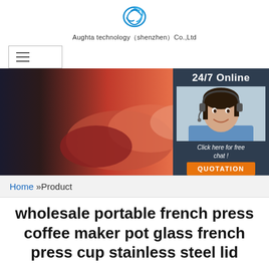[Figure (logo): Aughta technology company logo - circular blue fish/swirl icon]
Aughta technology（shenzhen）Co.,Ltd
[Figure (screenshot): Navigation hamburger menu icon inside a bordered box]
[Figure (photo): Hero banner showing two people shaking hands, business context, with text overlay 'CONT' and a 24/7 Online chat agent overlay on the right showing a woman with headset]
Home »Product
wholesale portable french press coffee maker pot glass french press cup stainless steel lid
Just fill in the form below, click submit, you will get